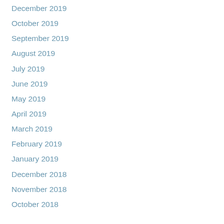December 2019
October 2019
September 2019
August 2019
July 2019
June 2019
May 2019
April 2019
March 2019
February 2019
January 2019
December 2018
November 2018
October 2018